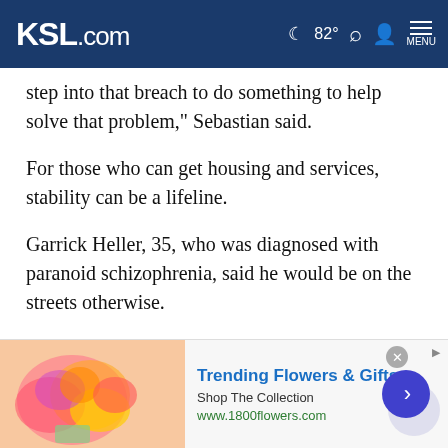KSL.com  82°  [search] [account] MENU
step into that breach to do something to help solve that problem," Sebastian said.
For those who can get housing and services, stability can be a lifeline.
Garrick Heller, 35, who was diagnosed with paranoid schizophrenia, said he would be on the streets otherwise.
Cookie Notice

We use cookies to improve your experience, analyze site traffic, and to personalize content and ads. By continuing to use our site, you consent to our use of cookies. Please visit our Terms of Use and Privacy Policy for more information.
[Figure (infographic): Advertisement banner for 1800flowers.com: Trending Flowers & Gifts, Shop The Collection, www.1800flowers.com, with flower bouquet image and blue arrow button]